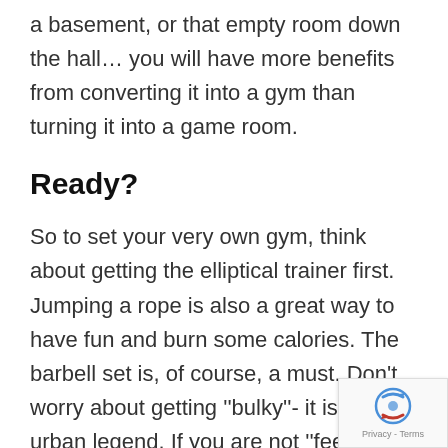a basement, or that empty room down the hall… you will have more benefits from converting it into a gym than turning it into a game room.
Ready?
So to set your very own gym, think about getting the elliptical trainer first. Jumping a rope is also a great way to have fun and burn some calories. The barbell set is, of course, a must. Don't worry about getting ''bulky''- it is just an urban legend. If you are not ''feeling it'' turn your spare room into a dance studio. In that case, the mirror and tv with workout videos are life saviours. Zumba, belly
[Figure (other): reCAPTCHA badge with spinning arrows logo and Privacy - Terms text]